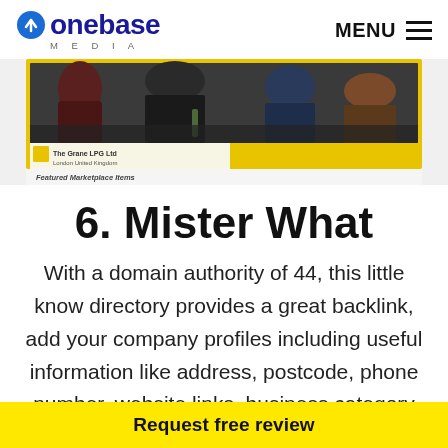onebase MEDIA | MENU
[Figure (screenshot): Screenshot of a business directory listing page showing people at a bar/social gathering, with company name 'The Grane LPG Ltd, London United Kingdom' and 'Featured Marketplace Items' section below]
6. Mister What
With a domain authority of 44, this little know directory provides a great backlink, add your company profiles including useful information like address, postcode, phone number, website links, business category and a local map. This is
Request free review